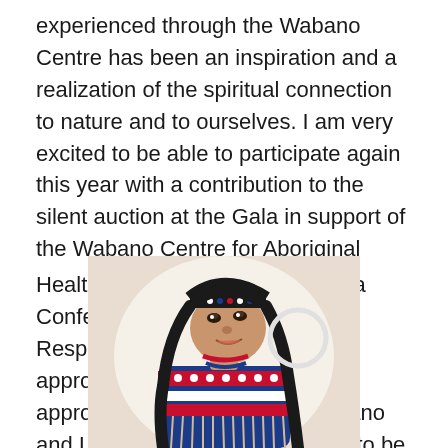experienced through the Wabano Centre has been an inspiration and a realization of the spiritual connection to nature and to ourselves. I am very excited to be able to participate again this year with a contribution to the silent auction at the Gala in support of the Wabano Centre for Aboriginal Health on June 21st at the Ottawa Conference and Event Centre. Respecting the issues of cultural appropriation, my sculptures are approved by the director of Wabano and I allow changes or additions to be made by the Culture Lead at the centre.
[Figure (photo): A close-up photo of a sculpture or doll depicting a Native American figure wearing traditional regalia including a beaded headband, colorful beaded dress with red, white, and blue designs, fringe, and long black braided hair. The figure is looking upward.]